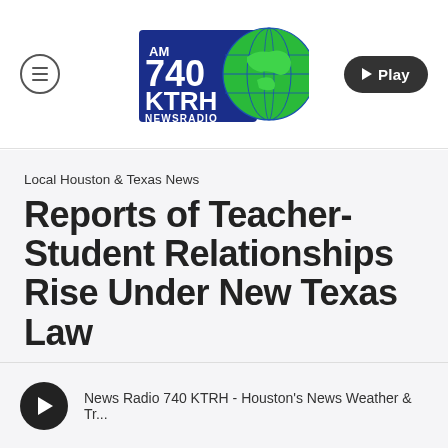[Figure (logo): AM 740 KTRH NewsRadio logo with globe graphic]
Local Houston & Texas News
Reports of Teacher-Student Relationships Rise Under New Texas Law
By iHeartMedia's Nik Rajkovic
News Radio 740 KTRH - Houston's News Weather & Tr...